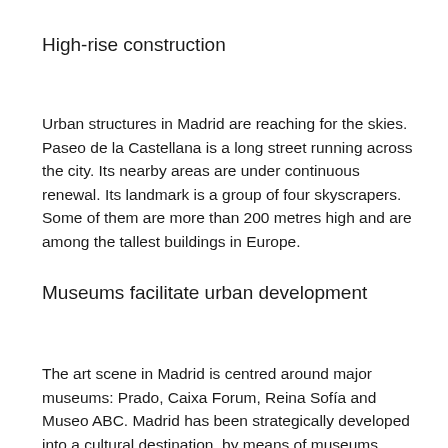High-rise construction
Urban structures in Madrid are reaching for the skies. Paseo de la Castellana is a long street running across the city. Its nearby areas are under continuous renewal. Its landmark is a group of four skyscrapers. Some of them are more than 200 metres high and are among the tallest buildings in Europe.
Museums facilitate urban development
The art scene in Madrid is centred around major museums: Prado, Caixa Forum, Reina Sofía and Museo ABC. Madrid has been strategically developed into a cultural destination, by means of museums designed by internationally renowned architects and more…